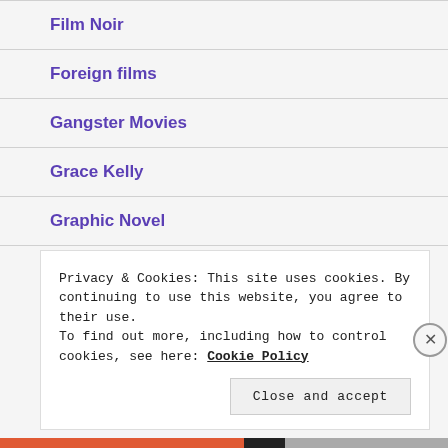Film Noir
Foreign films
Gangster Movies
Grace Kelly
Graphic Novel
Halloween
Privacy & Cookies: This site uses cookies. By continuing to use this website, you agree to their use.
To find out more, including how to control cookies, see here: Cookie Policy
Close and accept